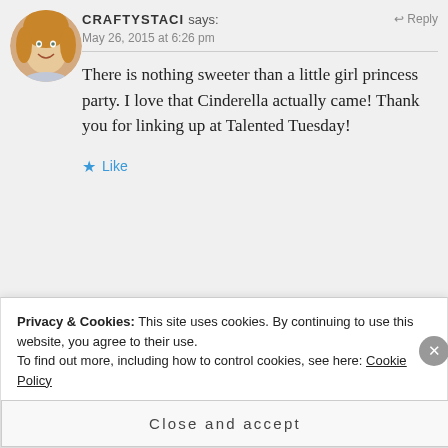[Figure (photo): Circular avatar photo of a woman with blonde/red hair, smiling]
CRAFTYSTACI says:
May 26, 2015 at 6:26 pm
Reply
There is nothing sweeter than a little girl princess party. I love that Cinderella actually came! Thank you for linking up at Talented Tuesday!
Like
[Figure (logo): Circular avatar with blue and white geometric/tribal pattern design]
MUMMY DO IT says:
Reply
Privacy & Cookies: This site uses cookies. By continuing to use this website, you agree to their use. To find out more, including how to control cookies, see here: Cookie Policy
Close and accept